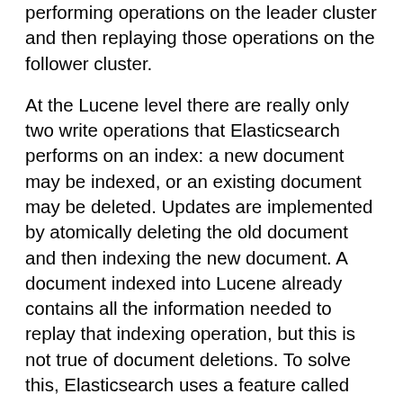performing operations on the leader cluster and then replaying those operations on the follower cluster.
At the Lucene level there are really only two write operations that Elasticsearch performs on an index: a new document may be indexed, or an existing document may be deleted. Updates are implemented by atomically deleting the old document and then indexing the new document. A document indexed into Lucene already contains all the information needed to replay that indexing operation, but this is not true of document deletions. To solve this, Elasticsearch uses a feature called soft deletes to preserve recent deletions in the Lucene index so that they can be replayed.
Elasticsearch only preserves certain recently-deleted documents in the index because a soft-deleted document still takes up some space. Eventually Elasticsearch will fully discard these soft-deleted documents to free up that space so that the index